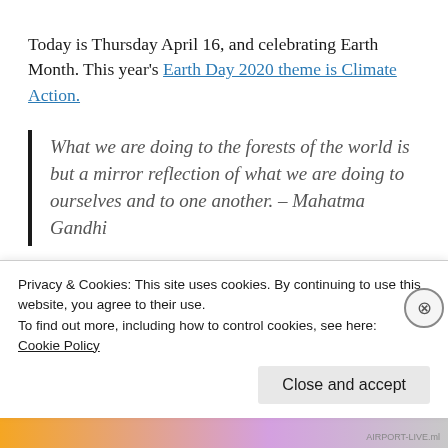Today is Thursday April 16, and celebrating Earth Month. This year's Earth Day 2020 theme is Climate Action.
What we are doing to the forests of the world is but a mirror reflection of what we are doing to ourselves and to one another. – Mahatma Gandhi
For directions as to how to drive to "George
Privacy & Cookies: This site uses cookies. By continuing to use this website, you agree to their use.
To find out more, including how to control cookies, see here:
Cookie Policy
Close and accept